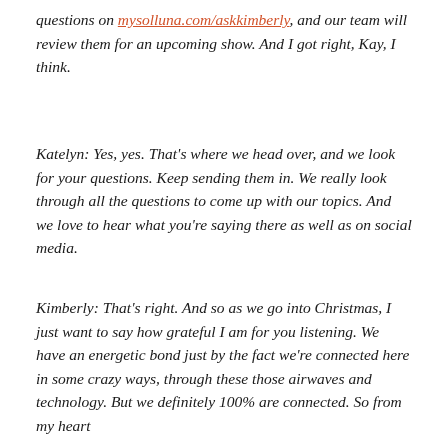questions on mysolluna.com/askkimberly, and our team will review them for an upcoming show. And I got right, Kay, I think.
Katelyn: Yes, yes. That's where we head over, and we look for your questions. Keep sending them in. We really look through all the questions to come up with our topics. And we love to hear what you're saying there as well as on social media.
Kimberly: That's right. And so as we go into Christmas, I just want to say how grateful I am for you listening. We have an energetic bond just by the fact we're connected here in some crazy ways, through these those airwaves and technology. But we definitely 100% are connected. So from my heart